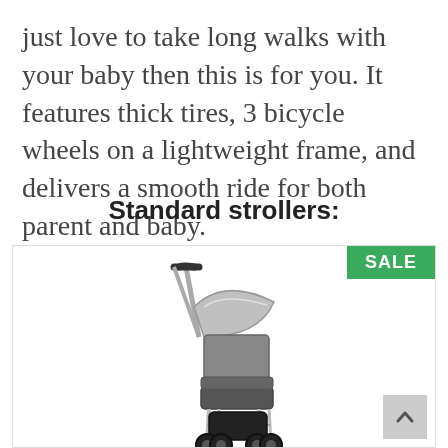just love to take long walks with your baby then this is for you. It features thick tires, 3 bicycle wheels on a lightweight frame, and delivers a smooth ride for both parent and baby.
Standard strollers:
[Figure (photo): A standard stroller (grey and black) shown on a white background inside a product card. A green SALE badge is in the top right corner of the card. A grey scroll-to-top button is in the bottom right corner.]